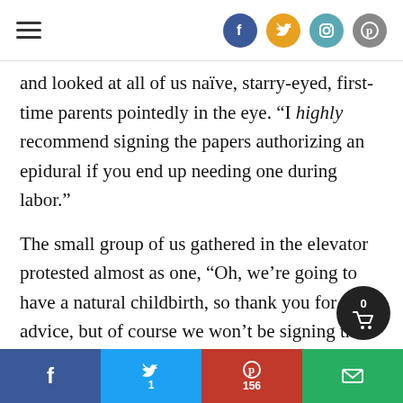Navigation header with hamburger menu and social icons (Facebook, Twitter, Instagram, Pinterest)
and looked at all of us naïve, starry-eyed, first-time parents pointedly in the eye. “I highly recommend signing the papers authorizing an epidural if you end up needing one during labor.”
The small group of us gathered in the elevator protested almost as one, “Oh, we’re going to have a natural childbirth, so thank you for the advice, but of course we won’t be signing the papers.”
f | t 1 | P 156 | email share buttons